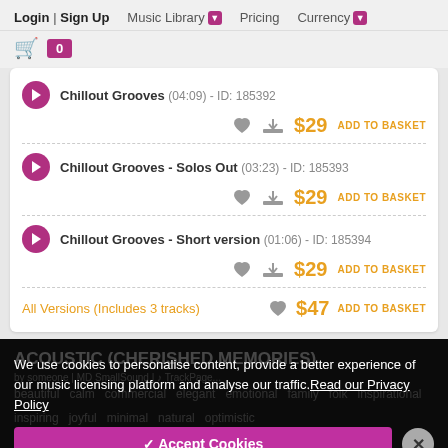Login | Sign Up  Music Library  Pricing  Currency
Chillout Grooves (04:09) - ID: 185392 — $29 ADD TO BASKET
Chillout Grooves - Solos Out (03:23) - ID: 185393 — $29 ADD TO BASKET
Chillout Grooves - Short version (01:06) - ID: 185394 — $29 ADD TO BASKET
All Versions (Includes 3 tracks) — $47 ADD TO BASKET
ACOUSTIC (CHERISHED MEMORIES)
We use cookies to personalise content, provide a better experience of our music licensing platform and analyse our traffic. Read our Privacy Policy
beautiful  calm  commercial  elegant  emotional  family  folk  inspirational  inspiring  joyful  minimal  natural  optimistic